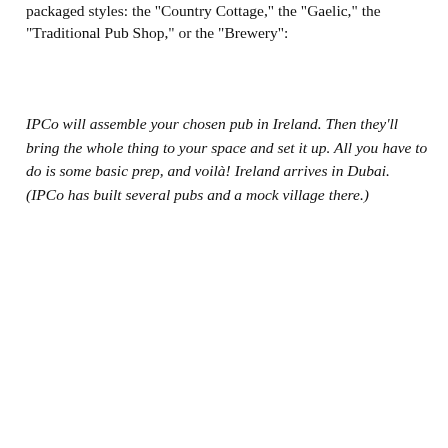packaged styles: the "Country Cottage," the "Gaelic," the "Traditional Pub Shop," or the "Brewery":
IPCo will assemble your chosen pub in Ireland. Then they'll bring the whole thing to your space and set it up. All you have to do is some basic prep, and voilà! Ireland arrives in Dubai. (IPCo has built several pubs and a mock village there.)